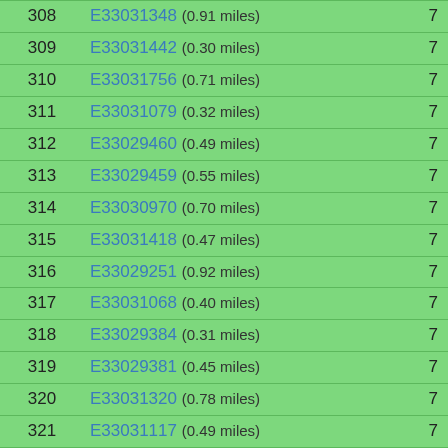| # | Code | Score |
| --- | --- | --- |
| 308 | E33031348 (0.91 miles) | 7 |
| 309 | E33031442 (0.30 miles) | 7 |
| 310 | E33031756 (0.71 miles) | 7 |
| 311 | E33031079 (0.32 miles) | 7 |
| 312 | E33029460 (0.49 miles) | 7 |
| 313 | E33029459 (0.55 miles) | 7 |
| 314 | E33030970 (0.70 miles) | 7 |
| 315 | E33031418 (0.47 miles) | 7 |
| 316 | E33029251 (0.92 miles) | 7 |
| 317 | E33031068 (0.40 miles) | 7 |
| 318 | E33029384 (0.31 miles) | 7 |
| 319 | E33029381 (0.45 miles) | 7 |
| 320 | E33031320 (0.78 miles) | 7 |
| 321 | E33031117 (0.49 miles) | 7 |
| 322 | E33029294 (0.48 miles) | 7 |
| 323 | E33031130 (0.39 miles) | 7 |
| 324 | E33031363 (0.35 miles) | 7 |